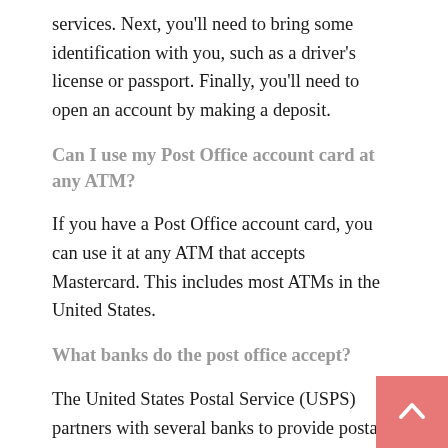services. Next, you'll need to bring some identification with you, such as a driver's license or passport. Finally, you'll need to open an account by making a deposit.
Can I use my Post Office account card at any ATM?
If you have a Post Office account card, you can use it at any ATM that accepts Mastercard. This includes most ATMs in the United States.
What banks do the post office accept?
The United States Postal Service (USPS) partners with several banks to provide postal banking services. These services include money orders, electronic money transfers, bill payments, and checking or savings account deposits. The banks that the USPS partners with include: